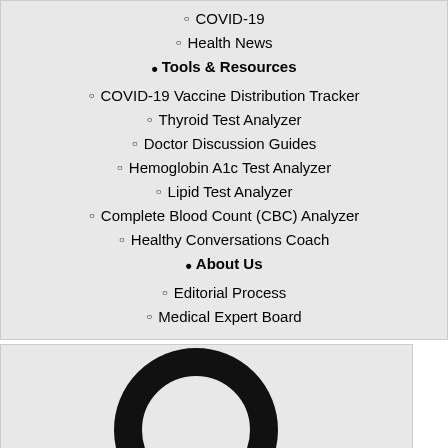COVID-19
Health News
Tools & Resources
COVID-19 Vaccine Distribution Tracker
Thyroid Test Analyzer
Doctor Discussion Guides
Hemoglobin A1c Test Analyzer
Lipid Test Analyzer
Complete Blood Count (CBC) Analyzer
Healthy Conversations Coach
About Us
Editorial Process
Medical Expert Board
[Figure (illustration): Large magnifying glass / search icon in black on light grey background, with 'Search' label at bottom left]
[Figure (illustration): Partial magnifying glass / search icon in black on light grey background (cropped at bottom)]